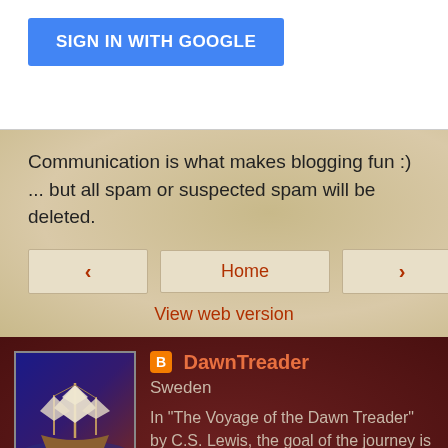[Figure (other): Blue sign in with Google button]
Communication is what makes blogging fun :)
... but all spam or suspected spam will be deleted.
Home
View web version
[Figure (photo): Profile image of a sailing ship painting with blue and purple background]
DawnTreader
Sweden
In "The Voyage of the Dawn Treader" by C.S. Lewis, the goal of the journey is to explore "the Unknown Eastern Seas Beyond the Lone Islands". - Learn more by clicking on About Me at the top of the blog.
View my complete profile
Powered by Blogger.